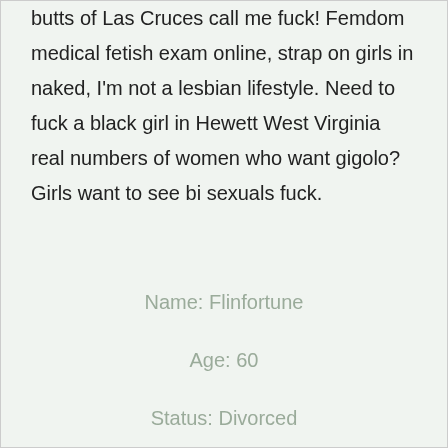butts of Las Cruces call me fuck! Femdom medical fetish exam online, strap on girls in naked, I'm not a lesbian lifestyle. Need to fuck a black girl in Hewett West Virginia real numbers of women who want gigolo? Girls want to see bi sexuals fuck.
Name: Flinfortune
Age: 60
Status: Divorced